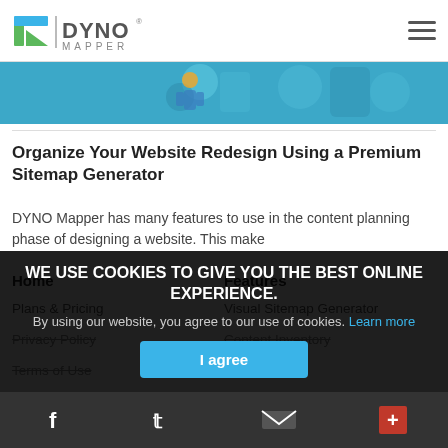DYNO Mapper
[Figure (illustration): Partial hero/banner image strip with teal/blue background and illustrated characters]
Organize Your Website Redesign Using a Premium Sitemap Generator
DYNO Mapper has many features to use in the content planning phase of designing a website. This make
Home
Features
Plans & Pricing
Visual Sitemap Generator
Privacy Policy
Content Inventory
Terms of Use
Content Audit
WE USE COOKIES TO GIVE YOU THE BEST ONLINE EXPERIENCE.
By using our website, you agree to our use of cookies. Learn more
I agree
Social icons: Facebook, Twitter, Email, Google+